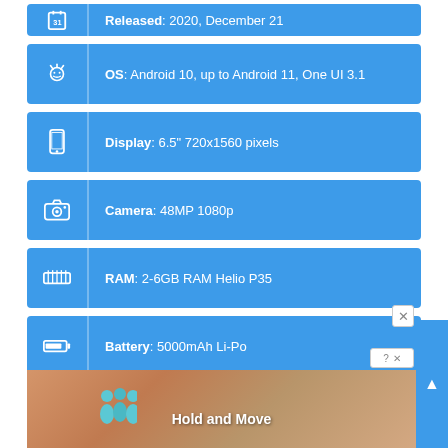Released: 2020, December 21
OS: Android 10, up to Android 11, One UI 3.1
Display: 6.5" 720x1560 pixels
Camera: 48MP 1080p
RAM: 2-6GB RAM Helio P35
Battery: 5000mAh Li-Po
OUR RATING
The overall rating is based on review by our experts